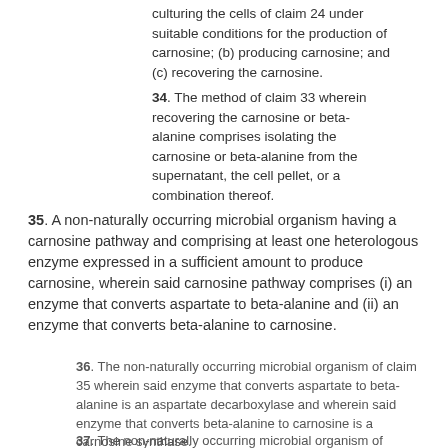33. A method of producing carnosine comprising: (a) culturing the cells of claim 24 under suitable conditions for the production of carnosine; (b) producing carnosine; and (c) recovering the carnosine.
34. The method of claim 33 wherein recovering the carnosine or beta-alanine comprises isolating the carnosine or beta-alanine from the supernatant, the cell pellet, or a combination thereof.
35. A non-naturally occurring microbial organism having a carnosine pathway and comprising at least one heterologous enzyme expressed in a sufficient amount to produce carnosine, wherein said carnosine pathway comprises (i) an enzyme that converts aspartate to beta-alanine and (ii) an enzyme that converts beta-alanine to carnosine.
36. The non-naturally occurring microbial organism of claim 35 wherein said enzyme that converts aspartate to beta-alanine is an aspartate decarboxylase and wherein said enzyme that converts beta-alanine to carnosine is a carnosine synthase.
37. The non-naturally occurring microbial organism of